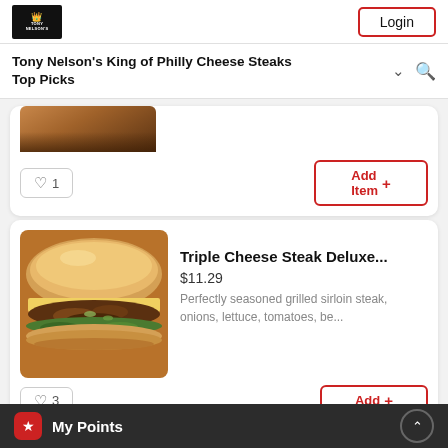Tony Nelson's King of Philly Cheese Steaks — Login
Tony Nelson's King of Philly Cheese Steaks
Top Picks
[Figure (photo): Partial view of a sandwich photo at the top of a menu card]
♡ 1
Add Item +
[Figure (photo): Photo of Triple Cheese Steak Deluxe sandwich on a roll with grilled meat, onions, lettuce]
Triple Cheese Steak Deluxe...
$11.29
Perfectly seasoned grilled sirloin steak, onions, lettuce, tomatoes, be...
♡ 3
Add +
My Points